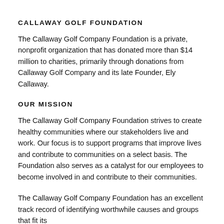CALLAWAY GOLF FOUNDATION
The Callaway Golf Company Foundation is a private, nonprofit organization that has donated more than $14 million to charities, primarily through donations from Callaway Golf Company and its late Founder, Ely Callaway.
OUR MISSION
The Callaway Golf Company Foundation strives to create healthy communities where our stakeholders live and work. Our focus is to support programs that improve lives and contribute to communities on a select basis. The Foundation also serves as a catalyst for our employees to become involved in and contribute to their communities.
The Callaway Golf Company Foundation has an excellent track record of identifying worthwhile causes and groups that fit its